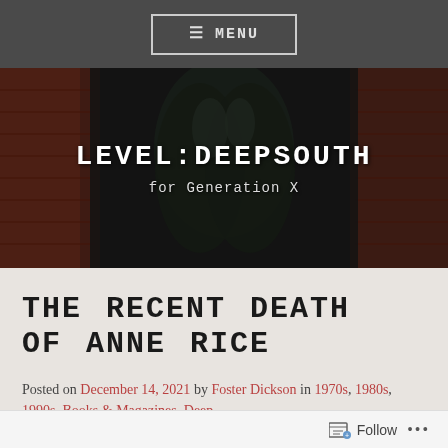≡ MENU
[Figure (photo): Dark background image of leather boots/jacket against a brick wall, with overlaid text 'LEVEL:DEEPSOUTH' and 'for Generation X']
THE RECENT DEATH OF ANNE RICE
Posted on December 14, 2021 by Foster Dickson in 1970s, 1980s, 1990s, Books & Magazines, Deep